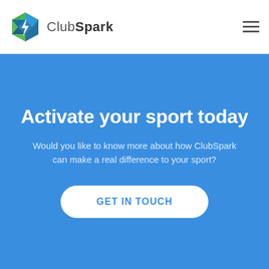ClubSpark
Activate your sport today
Would you like to know more about how ClubSpark can make a real difference to your sport?
Get in touch